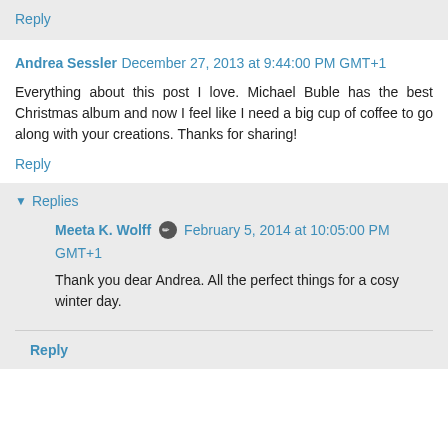Reply
Andrea Sessler  December 27, 2013 at 9:44:00 PM GMT+1
Everything about this post I love. Michael Buble has the best Christmas album and now I feel like I need a big cup of coffee to go along with your creations. Thanks for sharing!
Reply
Replies
Meeta K. Wolff  February 5, 2014 at 10:05:00 PM GMT+1
Thank you dear Andrea. All the perfect things for a cosy winter day.
Reply